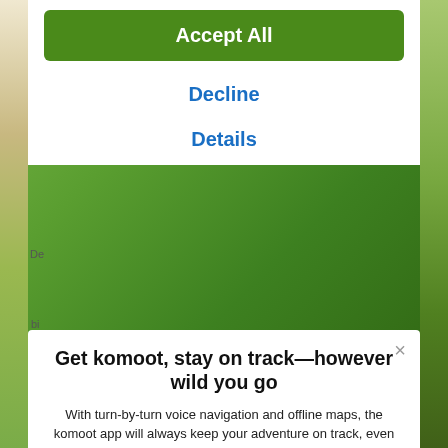[Figure (screenshot): Background showing map imagery and green landscape photos partially visible behind overlaid UI panels]
Accept All
Decline
Details
[Figure (screenshot): App promotion modal with close button, title, description text, and App Store download button]
Get komoot, stay on track—however wild you go
With turn-by-turn voice navigation and offline maps, the komoot app will always keep your adventure on track, even when the internet's down or unreliable.
[Figure (logo): Download on the App Store button with Apple logo]